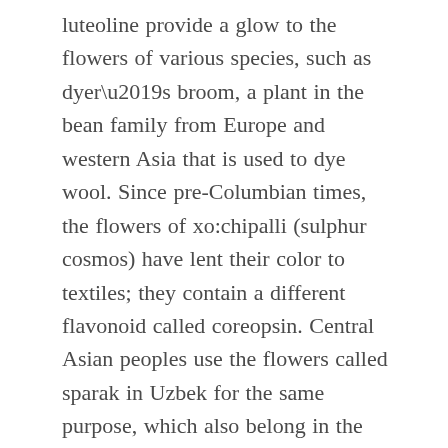luteoline provide a glow to the flowers of various species, such as dyer’s broom, a plant in the bean family from Europe and western Asia that is used to dye wool. Since pre-Columbian times, the flowers of xo:chipalli (sulphur cosmos) have lent their color to textiles; they contain a different flavonoid called coreopsin. Central Asian peoples use the flowers called sparak in Uzbek for the same purpose, which also belong in the marigold and cosmos family. In this exhibit we include a woolen fabric from that area decorated with bold warp stripes dyed with a plant flavonoid, madder and indigo.